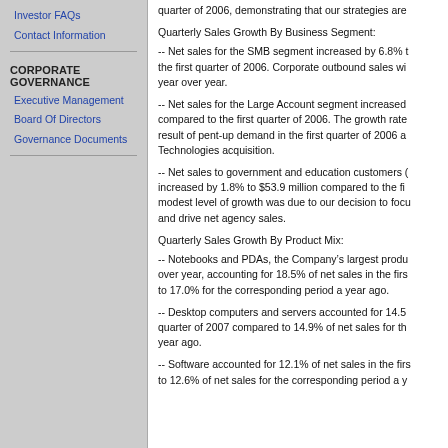Investor FAQs
Contact Information
CORPORATE GOVERNANCE
Executive Management
Board Of Directors
Governance Documents
quarter of 2006, demonstrating that our strategies are
Quarterly Sales Growth By Business Segment:
-- Net sales for the SMB segment increased by 6.8% the first quarter of 2006. Corporate outbound sales wi year over year.
-- Net sales for the Large Account segment increased compared to the first quarter of 2006. The growth rate result of pent-up demand in the first quarter of 2006 a Technologies acquisition.
-- Net sales to government and education customers ( increased by 1.8% to $53.9 million compared to the fi modest level of growth was due to our decision to focu and drive net agency sales.
Quarterly Sales Growth By Product Mix:
-- Notebooks and PDAs, the Company's largest produ over year, accounting for 18.5% of net sales in the firs to 17.0% for the corresponding period a year ago.
-- Desktop computers and servers accounted for 14.5 quarter of 2007 compared to 14.9% of net sales for th year ago.
-- Software accounted for 12.1% of net sales in the firs to 12.6% of net sales for the corresponding period a y